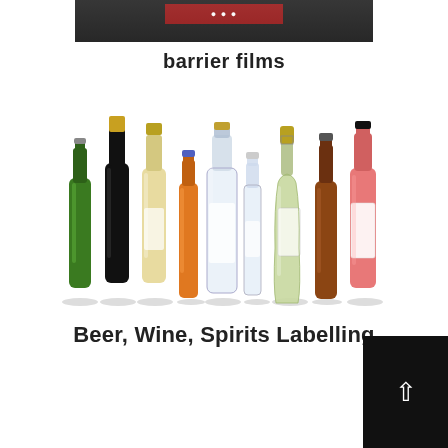[Figure (photo): Partial view of a black product package/box at the top of the page]
barrier films
[Figure (photo): Row of nine glass bottles of different types: green beer bottle, dark wine bottle, white wine bottle, orange juice/soda bottle, clear spirit bottle, small clear bottle, champagne bottle, amber beer bottle, and a rose/pink wine bottle with white label]
Beer, Wine, Spirits Labelling